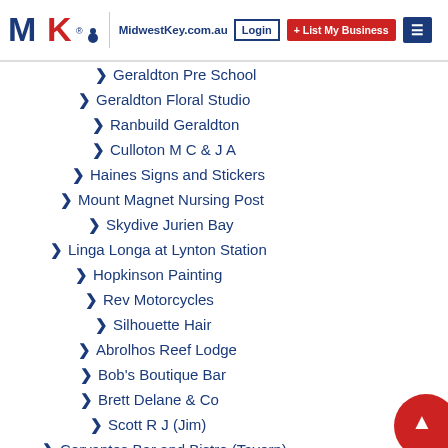MidwestKey.com.au — Login | + List My Business | Menu
Geraldton Pre School
Geraldton Floral Studio
Ranbuild Geraldton
Culloton M C & J A
Haines Signs and Stickers
Mount Magnet Nursing Post
Skydive Jurien Bay
Linga Longa at Lynton Station
Hopkinson Painting
Rev Motorcycles
Silhouette Hair
Abrolhos Reef Lodge
Bob's Boutique Bar
Brett Delane & Co
Scott R J (Jim)
Cervantes Bar and Bistro (Tavern)
Desert to Coast Training and Assessing Geraldton